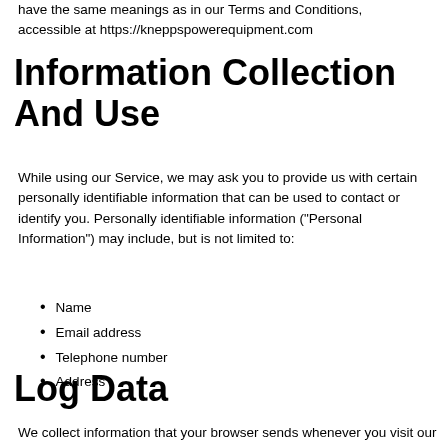have the same meanings as in our Terms and Conditions, accessible at https://kneppspowerequipment.com
Information Collection And Use
While using our Service, we may ask you to provide us with certain personally identifiable information that can be used to contact or identify you. Personally identifiable information (“Personal Information”) may include, but is not limited to:
Name
Email address
Telephone number
Address
Log Data
We collect information that your browser sends whenever you visit our Service (“Log Data”). This Log Data may include